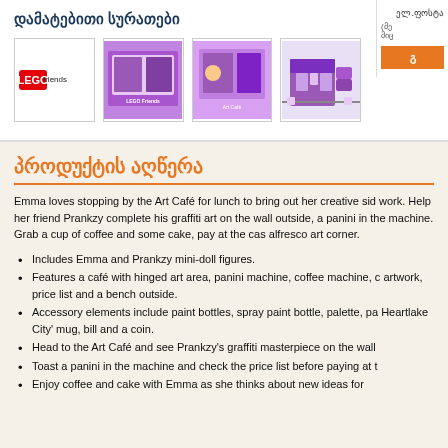დამატებითი სურათები
[Figure (photo): Four product thumbnail images of LEGO Friends Art Café set showing box and built set from different angles]
პროდუქტის აღწერა
Emma loves stopping by the Art Café for lunch to bring out her creative side at work. Help her friend Prankzy complete his graffiti art on the wall outside, a panini in the machine. Grab a cup of coffee and some cake, pay at the cas alfresco art corner.
Includes Emma and Prankzy mini-doll figures.
Features a café with hinged art area, panini machine, coffee machine, c artwork, price list and a bench outside.
Accessory elements include paint bottles, spray paint bottle, palette, pa Heartlake City' mug, bill and a coin.
Head to the Art Café and see Prankzy's graffiti masterpiece on the wall
Toast a panini in the machine and check the price list before paying at t
Enjoy coffee and cake with Emma as she thinks about new ideas for